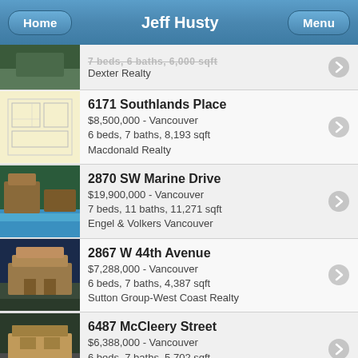Jeff Husty
7 beds, 6 baths, 6,000 sqft
Dexter Realty
6171 Southlands Place
$8,500,000 - Vancouver
6 beds, 7 baths, 8,193 sqft
Macdonald Realty
2870 SW Marine Drive
$19,900,000 - Vancouver
7 beds, 11 baths, 11,271 sqft
Engel & Volkers Vancouver
2867 W 44th Avenue
$7,288,000 - Vancouver
6 beds, 7 baths, 4,387 sqft
Sutton Group-West Coast Realty
6487 McCleery Street
$6,388,000 - Vancouver
6 beds, 7 baths, 5,702 sqft
Sutton Group-West Coast Realty
6450 McCleery Street
$7,688,000 - Vancouver
6 beds, 7 baths, 5,301 sqft